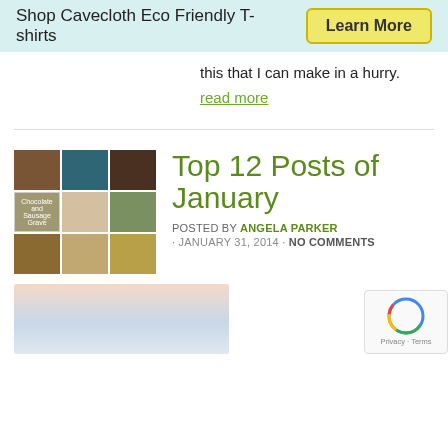Shop Cavecloth Eco Friendly T-shirts  Learn More
this that I can make in a hurry.
read more
[Figure (photo): Grid of 9 food photos for Top 12 Posts of January]
Top 12 Posts of January
POSTED BY ANGELA PARKER
· JANUARY 31, 2014 · NO COMMENTS
[Figure (photo): Child wearing animal hat, partially visible at bottom of page with reCAPTCHA overlay]